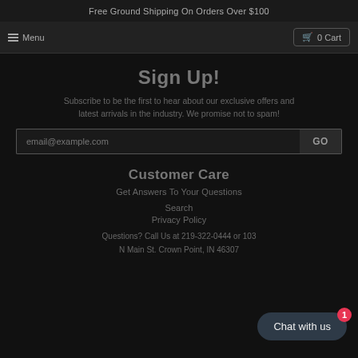Free Ground Shipping On Orders Over $100
Menu  0 Cart
Sign Up!
Subscribe to be the first to hear about our exclusive offers and latest arrivals in the industry. We promise not to spam!
email@example.com  GO
Customer Care
Get Answers To Your Questions
Search
Privacy Policy
Questions? Call Us at 219-322-0444 or 103 N Main St. Crown Point, IN 46307
Chat with us  1